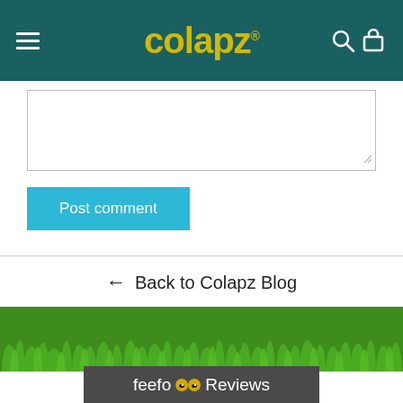colapz
[Figure (screenshot): Text area input box for posting a comment]
Post comment
← Back to Colapz Blog
[Figure (illustration): Grass/lawn illustration at the bottom of the page with feefo Reviews bar]